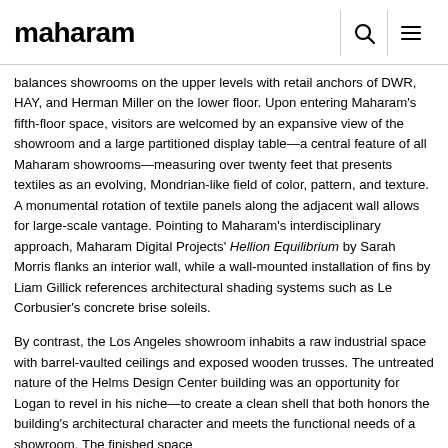maharam
balances showrooms on the upper levels with retail anchors of DWR, HAY, and Herman Miller on the lower floor. Upon entering Maharam's fifth-floor space, visitors are welcomed by an expansive view of the showroom and a large partitioned display table—a central feature of all Maharam showrooms—measuring over twenty feet that presents textiles as an evolving, Mondrian-like field of color, pattern, and texture. A monumental rotation of textile panels along the adjacent wall allows for large-scale vantage. Pointing to Maharam's interdisciplinary approach, Maharam Digital Projects' Hellion Equilibrium by Sarah Morris flanks an interior wall, while a wall-mounted installation of fins by Liam Gillick references architectural shading systems such as Le Corbusier's concrete brise soleils.
By contrast, the Los Angeles showroom inhabits a raw industrial space with barrel-vaulted ceilings and exposed wooden trusses. The untreated nature of the Helms Design Center building was an opportunity for Logan to revel in his niche—to create a clean shell that both honors the building's architectural character and meets the functional needs of a showroom. The finished space